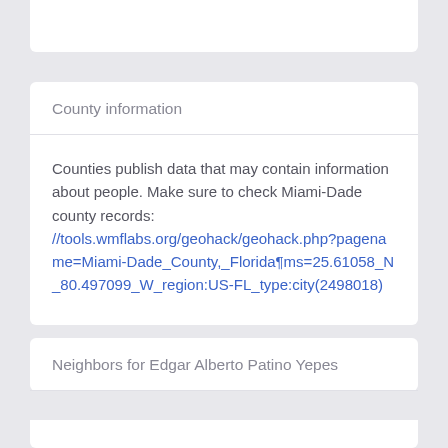County information
Counties publish data that may contain information about people. Make sure to check Miami-Dade county records:
//tools.wmflabs.org/geohack/geohack.php?pagename=Miami-Dade_County,_Florida&params=25.61058_N_80.497099_W_region:US-FL_type:city(2498018)
Neighbors for Edgar Alberto Patino Yepes